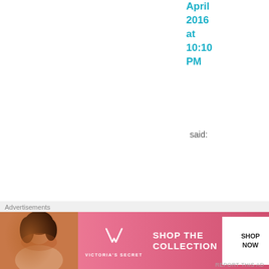April 2016 at 10:10 PM
said:
Of course t
[Figure (screenshot): Victoria's Secret advertisement banner with model, VS logo, 'SHOP THE COLLECTION' text, and 'SHOP NOW' button]
Advertisements
REPORT THIS AD